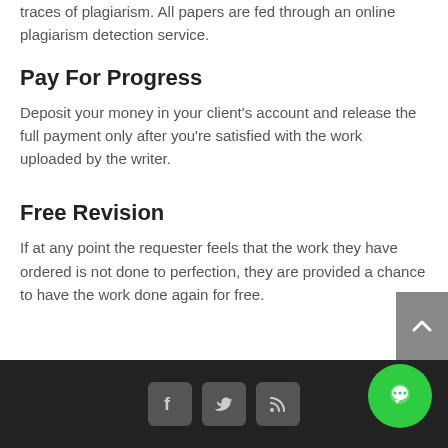traces of plagiarism. All papers are fed through an online plagiarism detection service.
Pay For Progress
Deposit your money in your client's account and release the full payment only after you're satisfied with the work uploaded by the writer.
Free Revision
If at any point the requester feels that the work they have ordered is not done to perfection, they are provided a chance to have the work done again for free.
Social icons: Facebook, Twitter, RSS